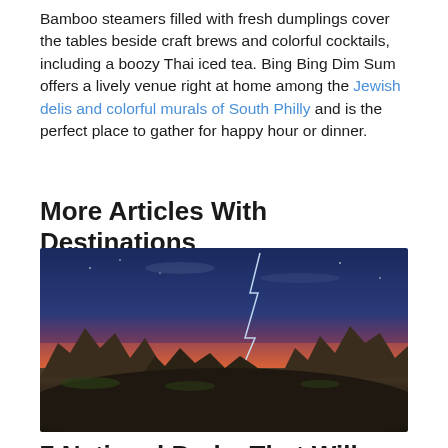Bamboo steamers filled with fresh dumplings cover the tables beside craft brews and colorful cocktails, including a boozy Thai iced tea. Bing Bing Dim Sum offers a lively venue right at home among the Jewish delis and colorful murals of South Philly and is the perfect place to gather for happy hour or dinner.
More Articles With Destinations
[Figure (photo): Dramatic landscape photo of rocky badlands formations at dusk with a lightning bolt striking in the background against a deep blue and pink sunset sky]
7 National Parks That Will Scare